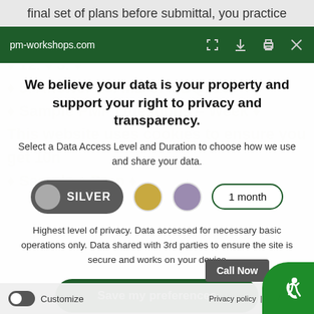final set of plans before submittal, you practice
pm-workshops.com
We believe your data is your property and support your right to privacy and transparency.
Select a Data Access Level and Duration to choose how we use and share your data.
[Figure (other): Data tier selection row with SILVER (selected, dark gray pill), gold circle, purple circle, and '1 month' pill button]
Highest level of privacy. Data accessed for necessary basic operations only. Data shared with 3rd parties to ensure the site is secure and works on your device
Save my preferences
Call Now
Customize
Privacy policy  |  Do Not Sell